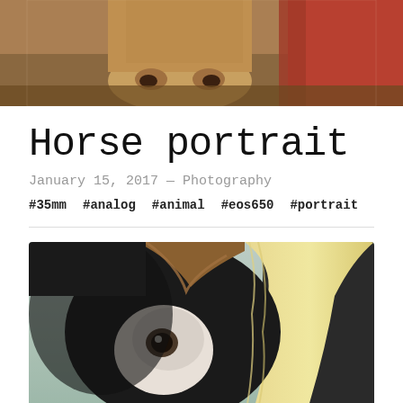[Figure (photo): Close-up photograph of a tan/brown horse face looking at the camera, with reddish barn or fence visible in the background, outdoors on dirt ground.]
Horse portrait
January 15, 2017 — Photography
#35mm   #analog   #animal   #eos650   #portrait
[Figure (photo): Close-up portrait photograph of a dark/black horse with white markings and a light blonde mane, misty or foggy background with green tones.]